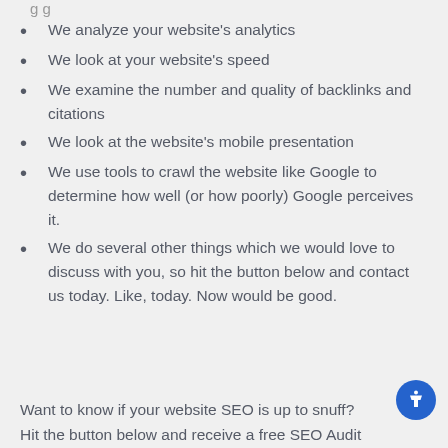g g …
We analyze your website’s analytics
We look at your website’s speed
We examine the number and quality of backlinks and citations
We look at the website’s mobile presentation
We use tools to crawl the website like Google to determine how well (or how poorly) Google perceives it.
We do several other things which we would love to discuss with you, so hit the button below and contact us today. Like, today. Now would be good.
Want to know if your website SEO is up to snuff?
Hit the button below and receive a free SEO Audit